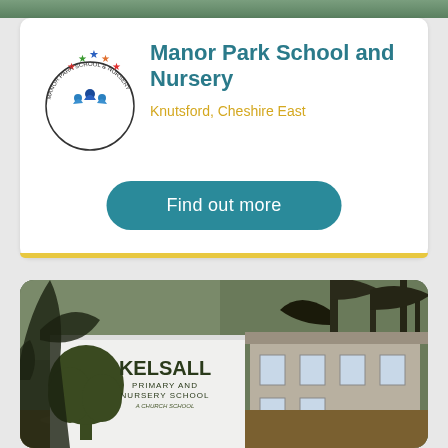[Figure (photo): Top strip image of school outdoor area]
[Figure (logo): Manor Park School and Nursery circular logo with coloured stars and figures]
Manor Park School and Nursery
Knutsford, Cheshire East
Find out more
[Figure (photo): Exterior photo of Kelsall Primary and Nursery School with school sign featuring tree logo, trees and school building in background]